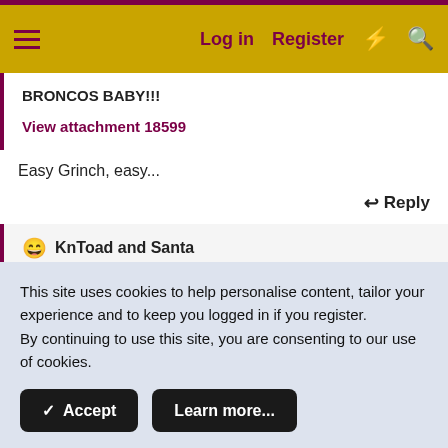Log in   Register
BRONCOS BABY!!!
View attachment 18599
Easy Grinch, easy...
Reply
😄 KnToad and Santa
This site uses cookies to help personalise content, tailor your experience and to keep you logged in if you register.
By continuing to use this site, you are consenting to our use of cookies.
✓ Accept   Learn more...